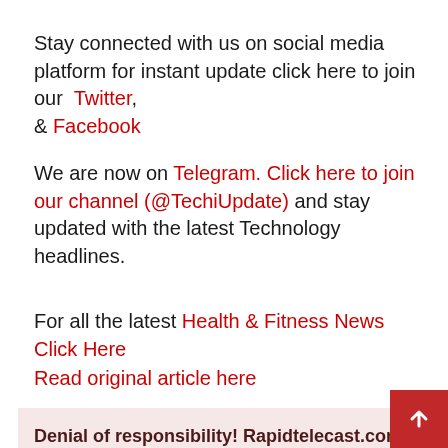Stay connected with us on social media platform for instant update click here to join our Twitter, & Facebook
We are now on Telegram. Click here to join our channel (@TechiUpdate) and stay updated with the latest Technology headlines.
For all the latest Health & Fitness News Click Here
Read original article here
Denial of responsibility! Rapidtelecast.com is an automatic aggregator around the global media. All the content are available free on Internet. We have just arranged it in one platform for educational